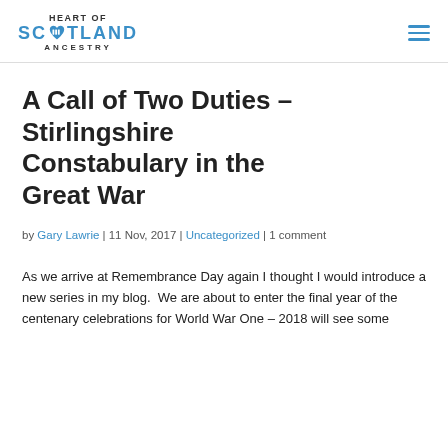HEART OF SCOTLAND ANCESTRY
A Call of Two Duties – Stirlingshire Constabulary in the Great War
by Gary Lawrie | 11 Nov, 2017 | Uncategorized | 1 comment
As we arrive at Remembrance Day again I thought I would introduce a new series in my blog.  We are about to enter the final year of the centenary celebrations for World War One – 2018 will see some